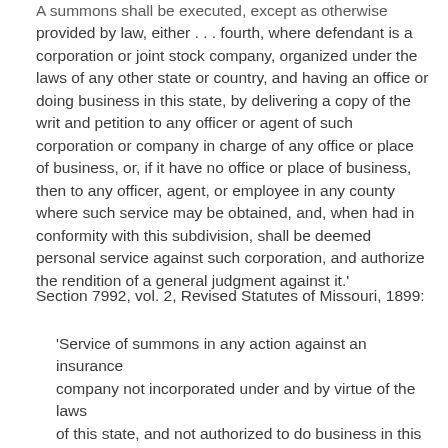A summons shall be executed, except as otherwise provided by law, either . . . fourth, where defendant is a corporation or joint stock company, organized under the laws of any other state or country, and having an office or doing business in this state, by delivering a copy of the writ and petition to any officer or agent of such corporation or company in charge of any office or place of business, or, if it have no office or place of business, then to any officer, agent, or employee in any county where such service may be obtained, and, when had in conformity with this subdivision, shall be deemed personal service against such corporation, and authorize the rendition of a general judgment against it.'
Section 7992, vol. 2, Revised Statutes of Missouri, 1899:
'Service of summons in any action against an insurance company not incorporated under and by virtue of the laws of this state, and not authorized to do business in this